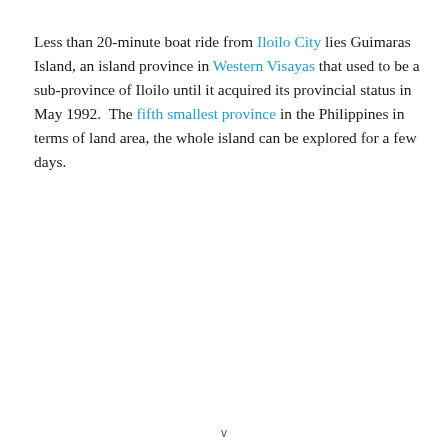Less than 20-minute boat ride from Iloilo City lies Guimaras Island, an island province in Western Visayas that used to be a sub-province of Iloilo until it acquired its provincial status in May 1992. The fifth smallest province in the Philippines in terms of land area, the whole island can be explored for a few days.
v